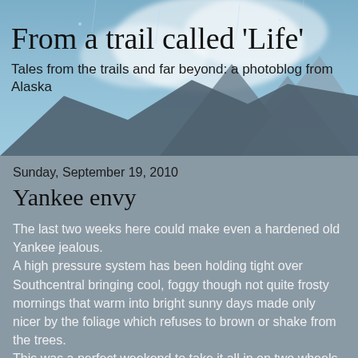[Figure (photo): Snowy mountain/rocky landscape with blue-grey sky background serving as header banner for a blog]
From a trail called 'Life'
Tales from the trails and far beyond: a photoblog from Alaska
Sunday, September 19, 2010
Yankee envy
The last two weeks here could make even a hardened old Yankee jealous.
A high pressure system has been holding tight over Southcentral bringing cool, foggy though not quite frosty mornings that warm into bright sunny days made only nicer by the foliage which refuses to brown or shake from the trees.
This was a perfect weekend to take it all in on two wheels.
On Friday after checking all the items on a lengthy to-do list, I hit the road on the skinny tire rig, heading across the Sterling Flats to the Skyline Trailhead and back for 40...